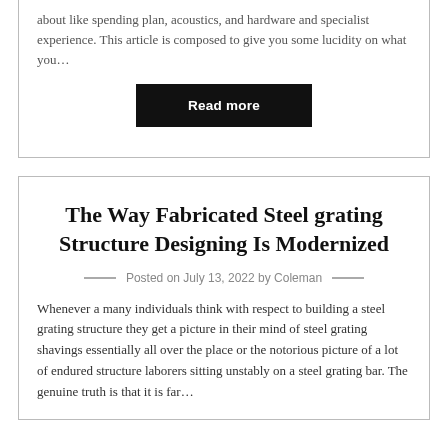about like spending plan, acoustics, and hardware and specialist experience. This article is composed to give you some lucidity on what you…
Read more
The Way Fabricated Steel grating Structure Designing Is Modernized
Posted on July 13, 2022 by Coleman
Whenever a many individuals think with respect to building a steel grating structure they get a picture in their mind of steel grating shavings essentially all over the place or the notorious picture of a lot of endured structure laborers sitting unstably on a steel grating bar. The genuine truth is that it is far…